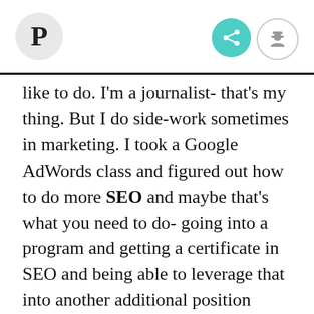P
like to do. I'm a journalist- that's my thing. But I do side-work sometimes in marketing. I took a Google AdWords class and figured out how to do more SEO and maybe that's what you need to do- going into a program and getting a certificate in SEO and being able to leverage that into another additional position besides just writing- I can edit this for SEO, I can optimize your site. Or if you get good at WordPress, setting up people on their website for a smaller